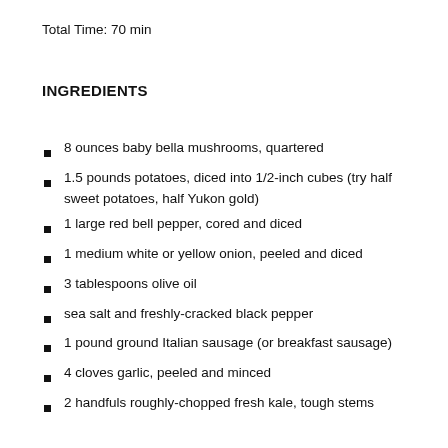Total Time: 70 min
INGREDIENTS
8 ounces baby bella mushrooms, quartered
1.5 pounds potatoes, diced into 1/2-inch cubes (try half sweet potatoes, half Yukon gold)
1 large red bell pepper, cored and diced
1 medium white or yellow onion, peeled and diced
3 tablespoons olive oil
sea salt and freshly-cracked black pepper
1 pound ground Italian sausage (or breakfast sausage)
4 cloves garlic, peeled and minced
2 handfuls roughly-chopped fresh kale, tough stems